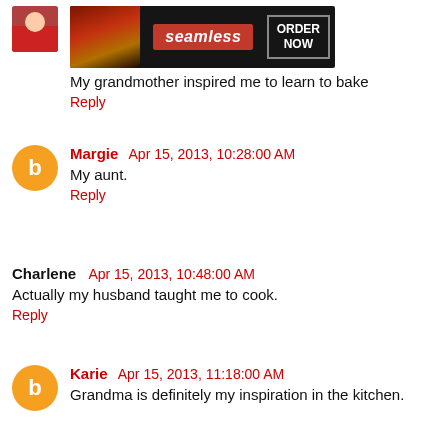[Figure (other): Seamless food delivery advertisement banner with pizza image, Seamless logo, and ORDER NOW button]
My grandmother inspired me to learn to bake
Reply
Margie  Apr 15, 2013, 10:28:00 AM
My aunt.
Reply
Charlene  Apr 15, 2013, 10:48:00 AM
Actually my husband taught me to cook.
Reply
Karie  Apr 15, 2013, 11:18:00 AM
Grandma is definitely my inspiration in the kitchen.